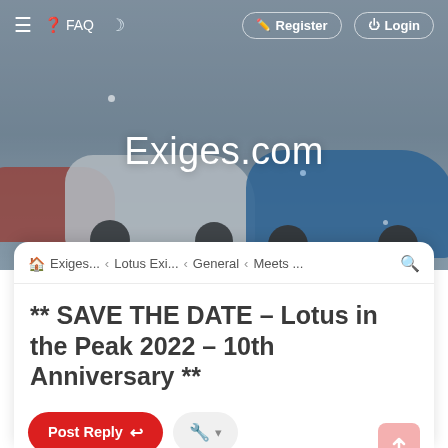[Figure (screenshot): Hero banner with blurred sports cars (red, white, blue Lotus vehicles) in background with dark overlay]
≡  ❓ FAQ  ☽  Register  Login
Exiges.com
🏠 Exiges...  ‹ Lotus Exi...  ‹ General  ‹ Meets ...  🔍
** SAVE THE DATE – Lotus in the Peak 2022 – 10th Anniversary **
Post Reply  🔧 ▾
Search this topic...  🔍  ⚙